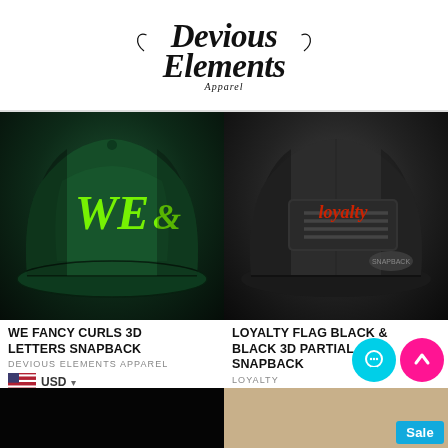[Figure (logo): Devious Elements Apparel logo in decorative black script font]
[Figure (photo): Dark green snapback hat with green embroidered 'WE' curls 3D letters on front]
[Figure (photo): Black snapback hat with 'Loyalty' flag patch in black and red on front]
WE FANCY CURLS 3D LETTERS SNAPBACK
DEVIOUS ELEMENTS APPAREL
USD
LOYALTY FLAG BLACK & BLACK 3D PARTIAL SNAPBACK
LOYALTY
$ 32.00
[Figure (photo): Partial view of a dark hat at bottom left]
[Figure (photo): Partial view of a product on light background at bottom right, with Sale badge]